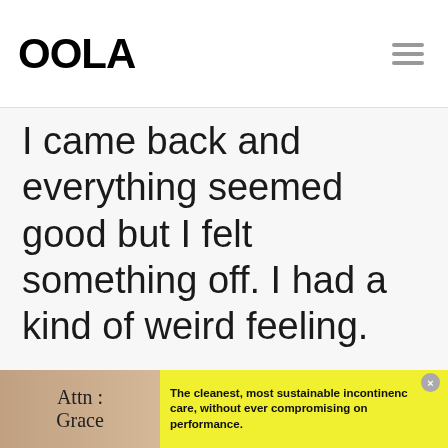OOLA
I came back and everything seemed good but I felt something off. I had a kind of weird feeling.
- ADVERTISEMENT - CONTINUE READING BELOW -
[Figure (other): Advertisement banner for Attn: Grace incontinence care product. Shows product image on left, yellow background with text: The cleanest, most sustainable incontinence care, without ever compromising on performance.]